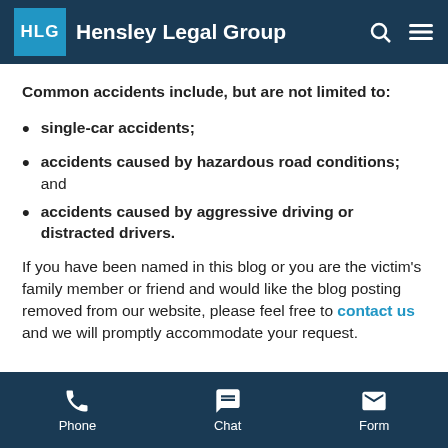Hensley Legal Group
Common accidents include, but are not limited to:
single-car accidents;
accidents caused by hazardous road conditions; and
accidents caused by aggressive driving or distracted drivers.
If you have been named in this blog or you are the victim's family member or friend and would like the blog posting removed from our website, please feel free to contact us and we will promptly accommodate your request.
Phone  Chat  Form